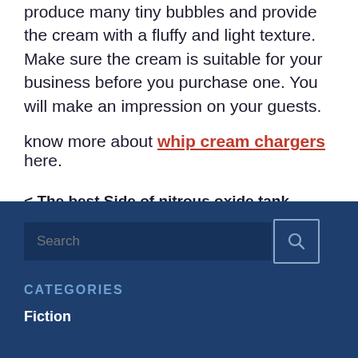produce many tiny bubbles and provide the cream with a fluffy and light texture. Make sure the cream is suitable for your business before you purchase one. You will make an impression on your guests.
know more about whip cream chargers here.
< The best Side of nitrous oxide tank
The 2-Minute Rule for whip cream chargers >
Search
CATEGORIES
Fiction